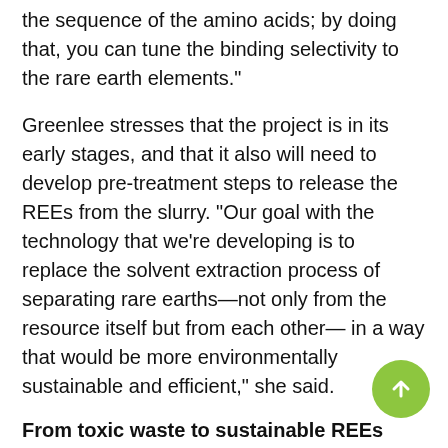commercially scalable peptide sequences by changing the sequence of the amino acids; by doing that, you can tune the binding selectivity to the rare earth elements."
Greenlee stresses that the project is in its early stages, and that it also will need to develop pre-treatment steps to release the REEs from the slurry. "Our goal with the technology that we're developing is to replace the solvent extraction process of separating rare earths—not only from the resource itself but from each other— in a way that would be more environmentally sustainable and efficient," she said.
From toxic waste to sustainable REEs
At Rice University in Houston, another group of researchers also have been investigating sources of REEs, including coal industry waste and recycled electronics.
In a recent paper published in Science Advances, Rice researchers Bing Deng, Xin Wang, Duy Xuan Luong, Robert A. Carter, Zhe Wang, and Mason B. Tomson discovered a method for extracting REEs from...